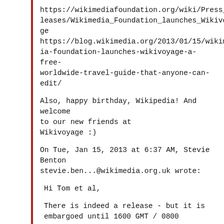https://wikimediafoundation.org/wiki/Press_releases/Wikimedia_Foundation_launches_Wikivoyage
https://blog.wikimedia.org/2013/01/15/wikimedia-foundation-launches-wikivoyage-a-free-worldwide-travel-guide-that-anyone-can-edit/
Also, happy birthday, Wikipedia! And welcome to our new friends at Wikivoyage :)
On Tue, Jan 15, 2013 at 6:37 AM, Stevie Benton stevie.ben...@wikimedia.org.uk wrote:
Hi Tom et al,
There is indeed a release - but it is embargoed until 1600 GMT / 0800 PST...
It's uploaded to the WMUK blog in readiness to go live at the appointed hour...